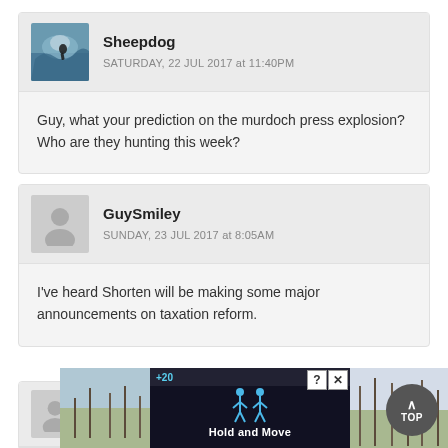[Figure (screenshot): User avatar: Sheepdog — a photo of a surfer/wave silhouette]
Sheepdog
SATURDAY, 22 JUL 2017 at 11:40PM
Guy, what your prediction on the murdoch press explosion? Who are they hunting this week?
[Figure (illustration): Default grey silhouette avatar for GuySmiley]
GuySmiley
SUNDAY, 23 JUL 2017 at 8:05AM
I've heard Shorten will be making some major announcements on taxation reform.
[Figure (illustration): Default grey silhouette avatar for GuySmiley (partial third comment)]
GuySmiley
[Figure (screenshot): Ad overlay: Hold and Move game advertisement with dark background, score +20/-33, and nature photos on sides]